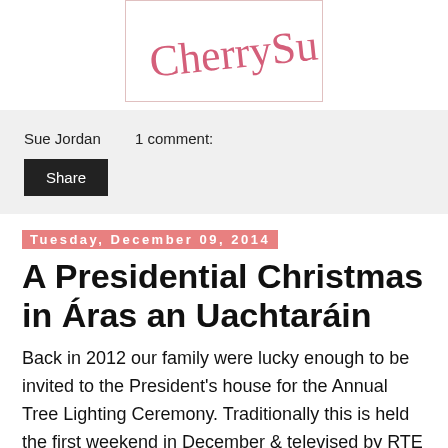[Figure (illustration): Handwritten cursive signature 'CherrySue x' in pink/red color inside a bordered white box]
Sue Jordan    1 comment:
Share
Tuesday, December 09, 2014
A Presidential Christmas in Áras an Uachtaráin
Back in 2012 our family were lucky enough to be invited to the President's house for the Annual Tree Lighting Ceremony. Traditionally this is held the first weekend in December & televised by RTE News...